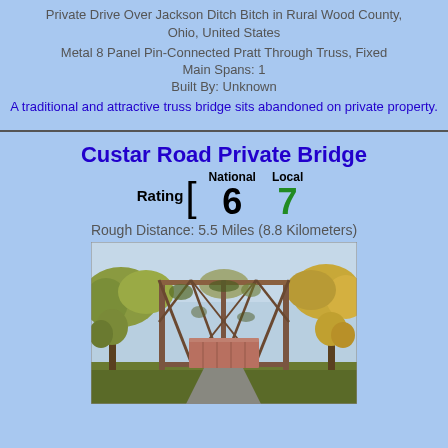Private Drive Over Jackson Ditch Bitch in Rural Wood County, Ohio, United States
Metal 8 Panel Pin-Connected Pratt Through Truss, Fixed
Main Spans: 1
Built By: Unknown
A traditional and attractive truss bridge sits abandoned on private property.
Custar Road Private Bridge
Rating [ National 6  Local 7
Rough Distance: 5.5 Miles (8.8 Kilometers)
[Figure (photo): Photo of an old rusted metal truss bridge overgrown with vegetation, with a brown shipping container visible at the base, surrounded by trees in autumn foliage.]